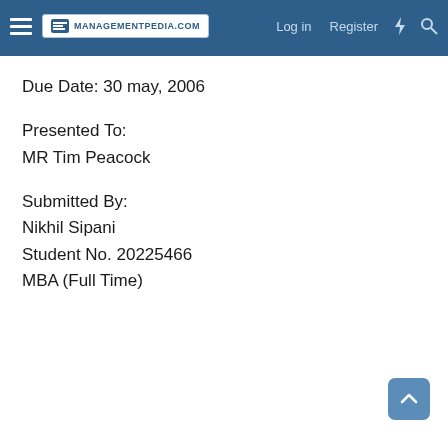MANAGEMENTPEDIA.COM | Log in | Register
Due Date: 30 may, 2006
Presented To:
MR Tim Peacock
Submitted By:
Nikhil Sipani
Student No. 20225466
MBA (Full Time)